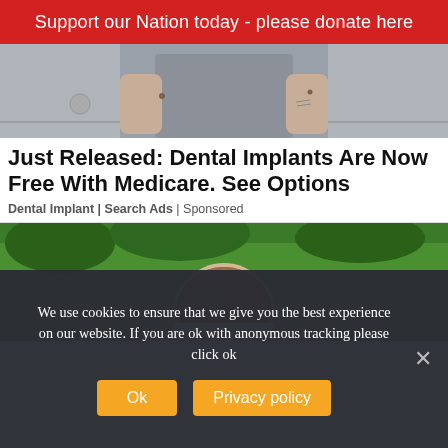Support our Nation today - please donate here
[Figure (photo): Cropped photo of a person in a grey top, torso area, outdoors on pavement]
Just Released: Dental Implants Are Now Free With Medicare. See Options
Dental Implant | Search Ads | Sponsored
[Figure (photo): Back of a child's head with brown hair, sitting outdoors on green grass]
We use cookies to ensure that we give you the best experience on our website. If you are ok with anonymous tracking please click ok